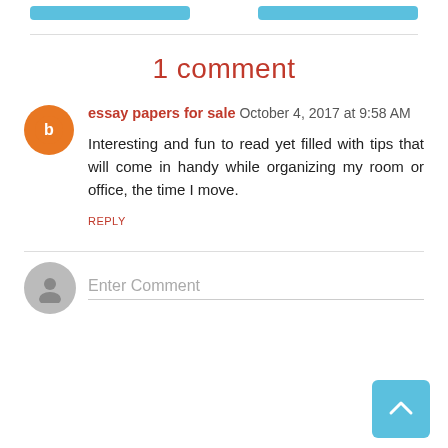1 comment
essay papers for sale  October 4, 2017 at 9:58 AM
Interesting and fun to read yet filled with tips that will come in handy while organizing my room or office, the time I move.
REPLY